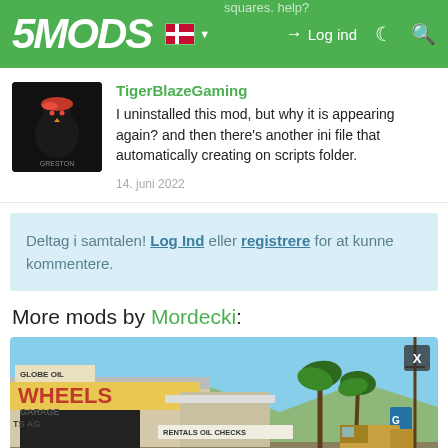5MODS — Log ind
squares. Help?
TigerBlazeGaming
I uninstalled this mod, but why it is appearing again? and then there's another ini file that automatically creating on scripts folder.
14. juni 2022
Deltag i samtalen! Log Ind eller registrere for at kunne kommentere.
More mods by Mordecki:
[Figure (screenshot): GTA V screenshot showing Wheels Garage with Globe Oil sign, RENTALS OIL CHECKS text, a gas station sign, palm trees, and a truck in the background]